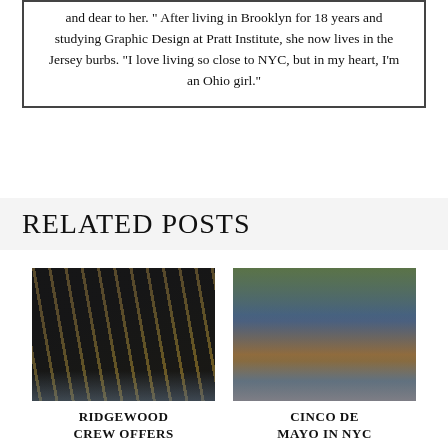and dear to her. " After living in Brooklyn for 18 years and studying Graphic Design at Pratt Institute, she now lives in the Jersey burbs. "I love living so close to NYC, but in my heart, I'm an Ohio girl."
RELATED POSTS
[Figure (photo): Photo of rowing crew oars being held together over water]
[Figure (photo): Photo of Cinco de Mayo parade in NYC with colorful costumed performers on a city street with tall buildings]
RIDGEWOOD CREW OFFERS
CINCO DE MAYO IN NYC